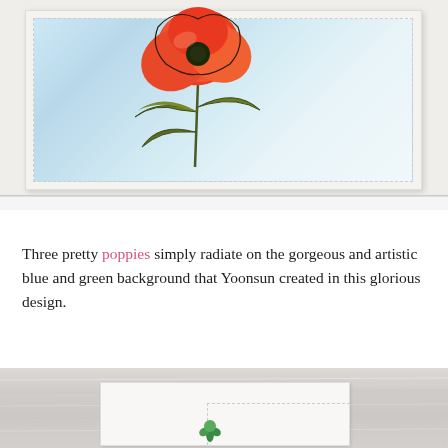[Figure (photo): A handmade greeting card with a large orange poppy flower and olive green leaves against a watercolor blue background, displayed propped up on a light gray surface. The card has a white base with a dashed inner border frame. Watermark bar below reads 'MY FAVORITE THINGS DESIGN TEAM' on the left and 'Barbara Anders' on the right.]
Three pretty poppies simply radiate on the gorgeous and artistic blue and green background that Yoonsun created in this glorious design.
[Figure (photo): Bottom portion of a card on a white wood plank background, showing a small green flower/leaf stamp element on a white card with dashed border frame.]